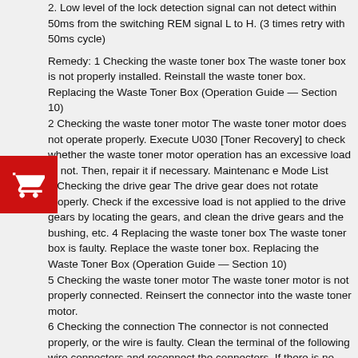2. Low level of the lock detection signal can not detect within 50ms from the switching REM signal L to H. (3 times retry with 50ms cycle)
Remedy: 1 Checking the waste toner box The waste toner box is not properly installed. Reinstall the waste toner box. Replacing the Waste Toner Box (Operation Guide — Section 10) 2 Checking the waste toner motor The waste toner motor does not operate properly. Execute U030 [Toner Recovery] to check whether the waste toner motor operation has an excessive load or not. Then, repair it if necessary. Maintenanc e Mode List 3 Checking the drive gear The drive gear does not rotate properly. Check if the excessive load is not applied to the drive gears by locating the gears, and clean the drive gears and the bushing, etc. 4 Replacing the waste toner box The waste toner box is faulty. Replace the waste toner box. Replacing the Waste Toner Box (Operation Guide — Section 10) 5 Checking the waste toner motor The waste toner motor is not properly connected. Reinsert the connector into the waste toner motor. 6 Checking the connection The connector is not connected properly, or the wire is faulty. Clean the terminal of the following wire connectors and reconnect the connectors. If there is no continuity, replace the wire. • Waste toner motor — Engine PWB Service Manual — Section 8 'PWBs' 7 Firmware upgrade The engine firmware is faulty. Upgrade the engine firmware to the latest version Firmware Update 8 Replacing the engine PWB The engine PWB is faulty. Replace the